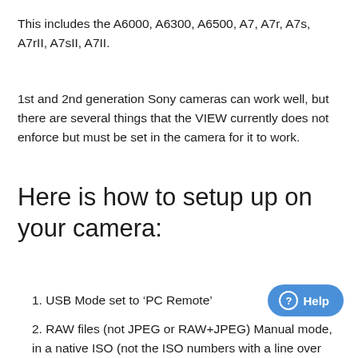This includes the A6000, A6300, A6500, A7, A7r, A7s, A7rII, A7sII, A7II.
1st and 2nd generation Sony cameras can work well, but there are several things that the VIEW currently does not enforce but must be set in the camera for it to work.
Here is how to setup up on your camera:
1. USB Mode set to ‘PC Remote’
2. RAW files (not JPEG or RAW+JPEG) Manual mode, in a native ISO (not the ISO numbers with a line over them, nor auto ISO)